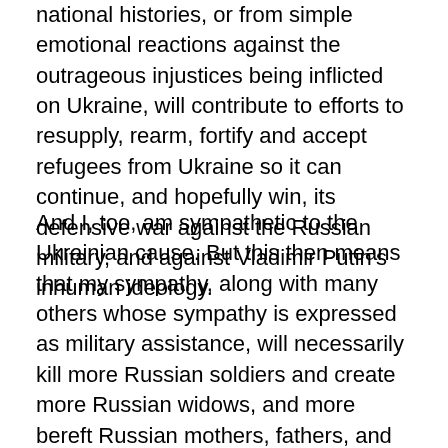national histories, or from simple emotional reactions against the outrageous injustices being inflicted on Ukraine, will contribute to efforts to resupply, rearm, fortify and accept refugees from Ukraine so it can continue, and hopefully win, its defensive war against the Russian military, and against Vladimir Putin's inhuman ideology.
And I, too, am sympathetic to the Ukrainian cause. But this then means that my sympathy, along with many others whose sympathy is expressed as military assistance, will necessarily kill more Russian soldiers and create more Russian widows, and more bereft Russian mothers, fathers, and lovers. And I grieve that such increased pain to the Russian people is impossible to avoid with any effort to relieve the massive injustice and massive pain being inflicted on the Ukrainian people. I grieve that in being sympathetic to a people afflicted with a cruel and unjust